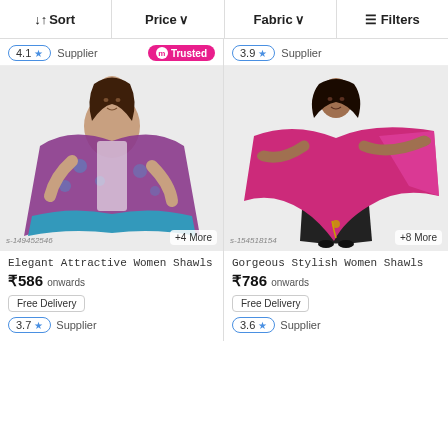↓↑ Sort | Price ∨ | Fabric ∨ | ⊟ Filters
4.1 ★ Supplier | m Trusted
[Figure (photo): Woman wearing a purple and teal floral shawl/stole. Image ID: s-149452546. +4 More]
Elegant Attractive Women Shawls
₹586 onwards
Free Delivery
3.7 ★ Supplier
3.9 ★ Supplier
[Figure (photo): Woman in black outfit holding a large magenta/pink shawl. Image ID: s-154518154. +8 More]
Gorgeous Stylish Women Shawls
₹786 onwards
Free Delivery
3.6 ★ Supplier